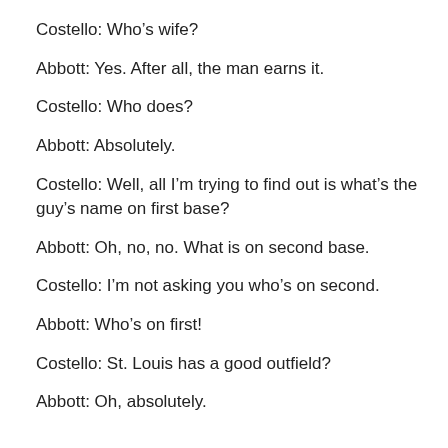Costello: Who's wife?
Abbott: Yes. After all, the man earns it.
Costello: Who does?
Abbott: Absolutely.
Costello: Well, all I'm trying to find out is what's the guy's name on first base?
Abbott: Oh, no, no. What is on second base.
Costello: I'm not asking you who's on second.
Abbott: Who's on first!
Costello: St. Louis has a good outfield?
Abbott: Oh, absolutely.